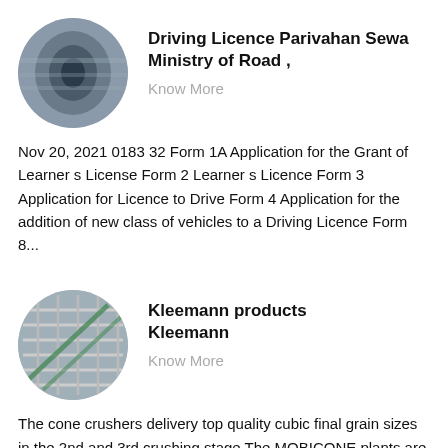[Figure (photo): Circular thumbnail image showing a close-up of metallic tubes or cylinders, gray/dark tones.]
Driving Licence Parivahan Sewa Ministry of Road ,
Know More
Nov 20, 2021 0183 32 Form 1A Application for the Grant of Learner s License Form 2 Learner s Licence Form 3 Application for Licence to Drive Form 4 Application for the addition of new class of vehicles to a Driving Licence Form 8...
[Figure (photo): Circular thumbnail image showing industrial metal grid/grate structure with green elements, overhead view.]
Kleemann products Kleemann
Know More
The cone crushers delivery top quality cubic final grain sizes in the 2nd and 3rd crushing stage The MOBICONE plants are available in different sizes and for various